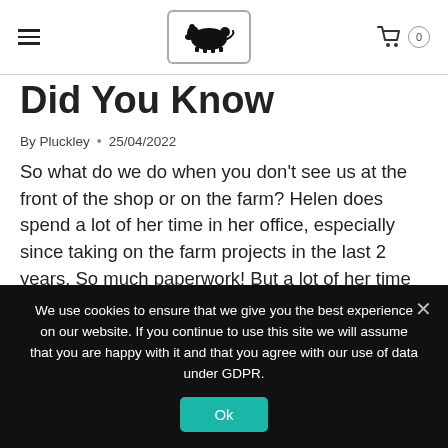[Figure (logo): Pig silhouette logo inside a rounded rectangle border]
Did You Know
By Pluckley • 25/04/2022
So what do we do when you don't see us at the front of the shop or on the farm? Helen does spend a lot of her time in her office, especially since taking on the farm projects in the last 2 years.  So much paperwork!  But a lot of her time during 2020/2021was spent…
We use cookies to ensure that we give you the best experience on our website. If you continue to use this site we will assume that you are happy with it and that you agree with our use of data under GDPR.